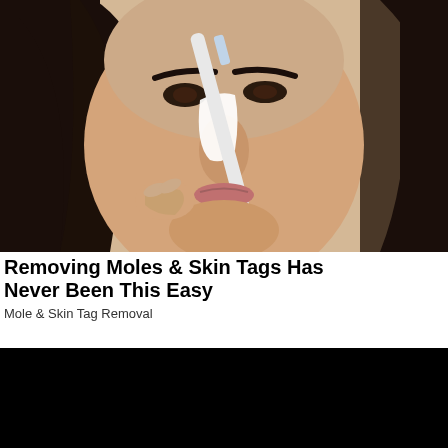[Figure (photo): Close-up photo of a woman with dark hair applying a white cream or product to her nose with a brush or applicator. The woman has defined eyebrows and is looking slightly downward.]
Removing Moles & Skin Tags Has Never Been This Easy
Mole & Skin Tag Removal
[Figure (photo): A mostly black/dark image, likely a video thumbnail or second advertisement image.]